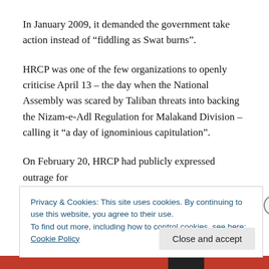In January 2009, it demanded the government take action instead of “fiddling as Swat burns”.
HRCP was one of the few organizations to openly criticise April 13 – the day when the National Assembly was scared by Taliban threats into backing the Nizam-e-Adl Regulation for Malakand Division – calling it “a day of ignominious capitulation”.
On February 20, HRCP had publicly expressed outrage for
Privacy & Cookies: This site uses cookies. By continuing to use this website, you agree to their use.
To find out more, including how to control cookies, see here: Cookie Policy